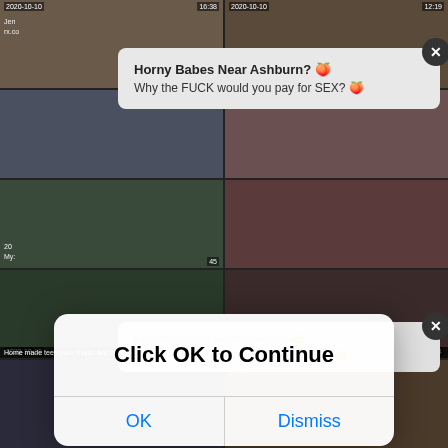[Figure (screenshot): Background grid of adult video thumbnail images arranged in a 2-column grid with dates '2020-10-10' and durations '16:38', '12:19', '5:01', '9:54' visible. Video titles include 'Home made teen porn Raylin Ann is a' and 'Deutsche Amateure Arschfick'.]
Horny Babes Near Ashburn? 🍑
Why the FUCK would you pay for SEX? 🍑
Erasmus Girls Want to Fuck! 😊
Send a Message and Fuck for FREE 😊
Click OK to Continue
OK
Dismiss